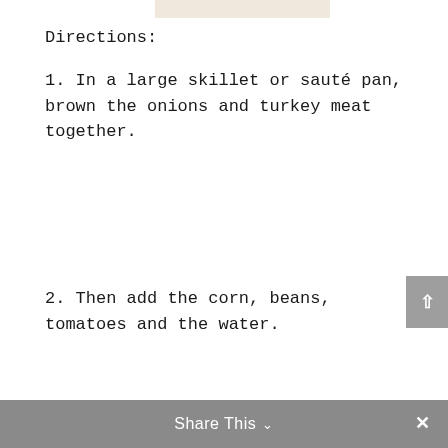[Figure (photo): Partial image strip visible at the top of the page, showing a light beige/cream colored food image.]
Directions:
1. In a large skillet or sauté pan, brown the onions and turkey meat together.
2. Then add the corn, beans, tomatoes and the water.
Share This ∨  ×